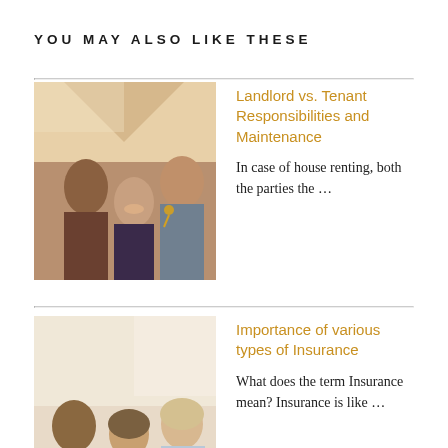YOU MAY ALSO LIKE THESE
[Figure (photo): A man handing keys to a couple in a room, representing a landlord-tenant transaction.]
Landlord vs. Tenant Responsibilities and Maintenance
In case of house renting, both the parties the …
[Figure (photo): Three people sitting around a table looking at documents, representing an insurance consultation.]
Importance of various types of Insurance
What does the term Insurance mean?  Insurance is like …